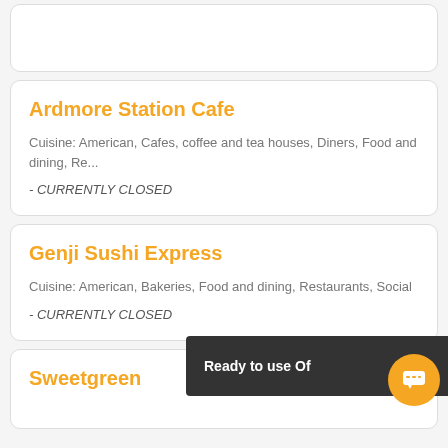Ardmore Station Cafe
Cuisine: American, Cafes, coffee and tea houses, Diners, Food and dining, Re...
- CURRENTLY CLOSED
Genji Sushi Express
Cuisine: American, Bakeries, Food and dining, Restaurants, Social
- CURRENTLY CLOSED
Sweetgreen